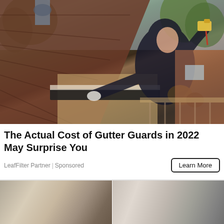[Figure (photo): A man in a black hoodie and tool belt working on a gutter system on a rooftop. He is holding a tool and installing or inspecting a black gutter guard along the edge of a brown shingled roof. Background shows trees and a neighbouring brick house.]
The Actual Cost of Gutter Guards in 2022 May Surprise You
LeafFilter Partner | Sponsored
Learn More
[Figure (photo): Interior room with modern furniture, large windows, and a double-height ceiling with natural light.]
[Figure (photo): Interior hallway or room with neutral tones, architectural details visible.]